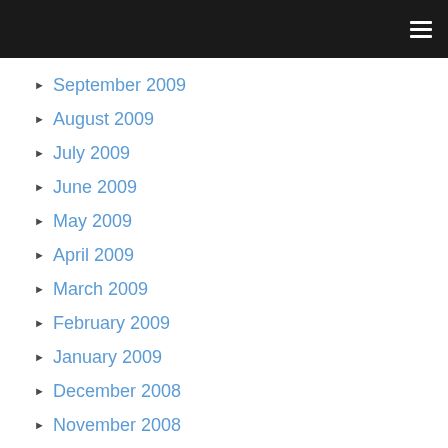≡
September 2009
August 2009
July 2009
June 2009
May 2009
April 2009
March 2009
February 2009
January 2009
December 2008
November 2008
October 2008
September 2008
August 2008
July 2008